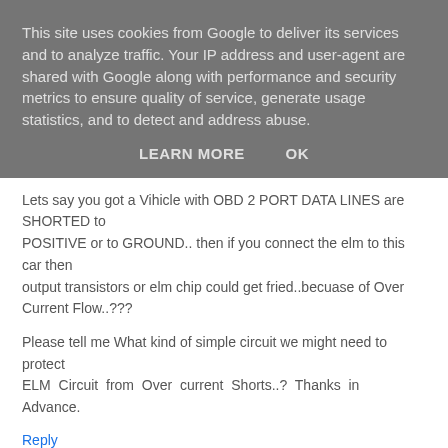This site uses cookies from Google to deliver its services and to analyze traffic. Your IP address and user-agent are shared with Google along with performance and security metrics to ensure quality of service, generate usage statistics, and to detect and address abuse.
LEARN MORE   OK
Lets say you got a Vihicle with OBD 2 PORT DATA LINES are SHORTED to POSITIVE or to GROUND.. then if you connect the elm to this car then output transistors or elm chip could get fried..becuase of Over Current Flow..???
Please tell me What kind of simple circuit we might need to protect ELM Circuit from Over current Shorts..? Thanks in Advance.
Reply